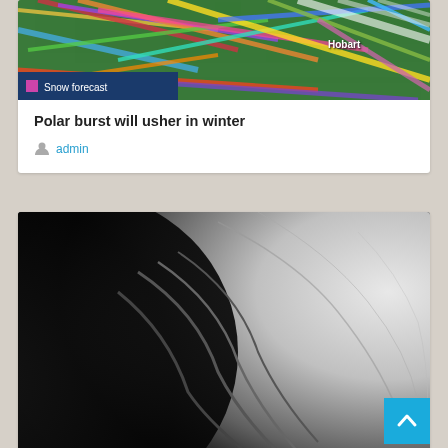[Figure (photo): Colorful weather/wind forecast map showing Australia with 'Snow forecast' label overlay and 'Hobart' text]
Polar burst will usher in winter
admin
[Figure (photo): Black and white close-up image of Enceladus moon surface showing ridges and craters]
Study identifies a process that might have led to the first organic molecules